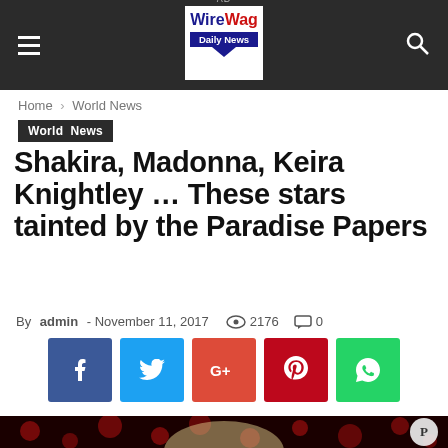WireWag Daily News
Home › World News
World News
Shakira, Madonna, Keira Knightley … These stars tainted by the Paradise Papers
By admin - November 11, 2017  2176  0
[Figure (other): Social sharing buttons: Facebook, Twitter, Google+, Pinterest, WhatsApp]
[Figure (photo): Photo of a woman (possibly a celebrity) in front of a red bokeh background, with a Pocket save icon overlay]